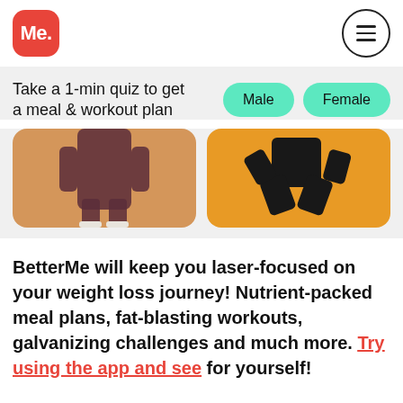[Figure (logo): BetterMe app logo: red rounded square with white 'Me.' text]
[Figure (other): Hamburger menu icon inside a circle]
Take a 1-min quiz to get a meal & workout plan
[Figure (other): Male and Female gender selection buttons (teal/mint rounded pills)]
[Figure (photo): Two fitness photos side by side: left shows a person in dark workout clothes on a tan/beige background, right shows a person in black clothes on an orange/amber background]
BetterMe will keep you laser-focused on your weight loss journey! Nutrient-packed meal plans, fat-blasting workouts, galvanizing challenges and much more. Try using the app and see for yourself!